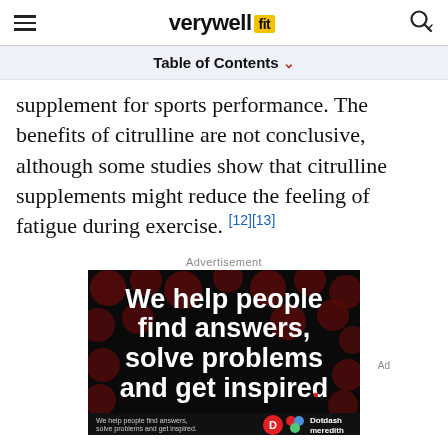verywell fit
Table of Contents
supplement for sports performance. The benefits of citrulline are not conclusive, although some studies show that citrulline supplements might reduce the feeling of fatigue during exercise. [12][13]
Advertisement
[Figure (photo): Advertisement image: black background with dark red circles, white bold text reading 'We help people find answers, solve problems and get inspired.' with a red period. Bottom bar shows Dotdash Meredith branding.]